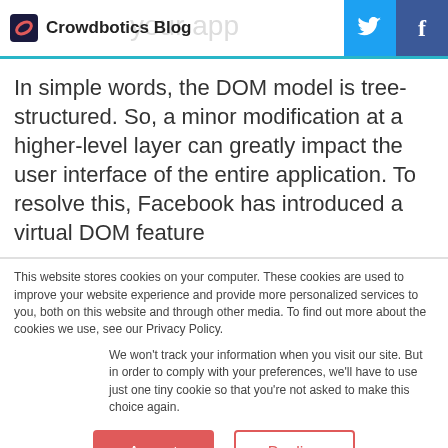Crowdbotics Blog
In simple words, the DOM model is tree-structured. So, a minor modification at a higher-level layer can greatly impact the user interface of the entire application. To resolve this, Facebook has introduced a virtual DOM feature
This website stores cookies on your computer. These cookies are used to improve your website experience and provide more personalized services to you, both on this website and through other media. To find out more about the cookies we use, see our Privacy Policy.
We won't track your information when you visit our site. But in order to comply with your preferences, we'll have to use just one tiny cookie so that you're not asked to make this choice again.
Accept
Decline